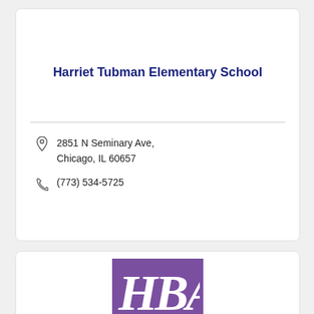Harriet Tubman Elementary School
2851 N Seminary Ave, Chicago, IL 60657
(773) 534-5725
[Figure (logo): Purple square logo with white stylized letters HBA in serif italic font]